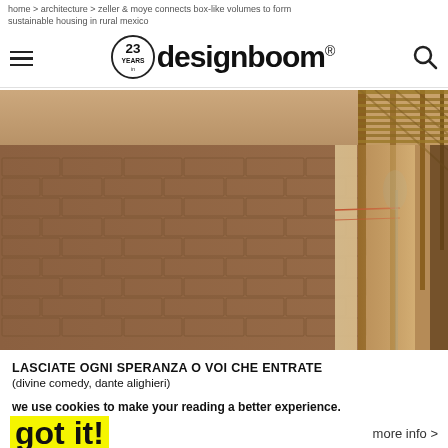home > architecture > zeller & moye connects box-like volumes to form sustainable housing in rural mexico
[Figure (logo): designboom logo with 23 years circle badge, hamburger menu icon and search icon]
[Figure (photo): Interior of a rammed earth brick building showing textured mud brick wall on the left and bamboo/wood structural frame with light coming through on the right]
LASCIATE OGNI SPERANZA O VOI CHE ENTRATE
(divine comedy, dante alighieri)
we use cookies to make your reading a better experience.
got it!
more info >